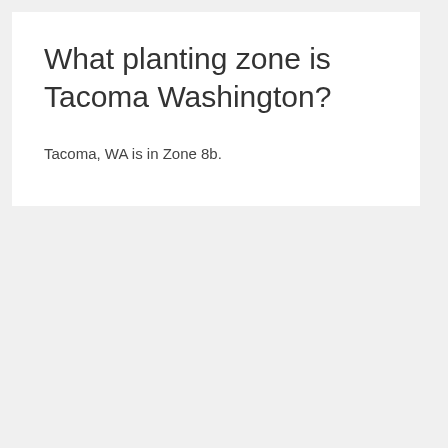What planting zone is Tacoma Washington?
Tacoma, WA is in Zone 8b.